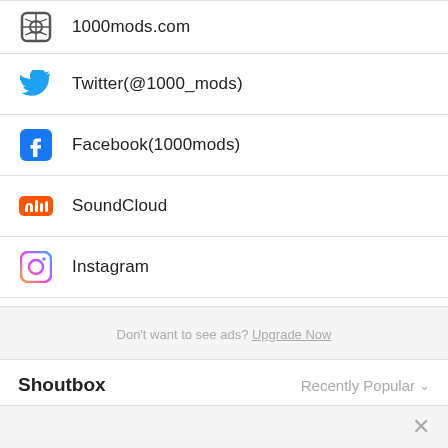1000mods.com
Twitter(@1000_mods)
Facebook(1000mods)
SoundCloud
Instagram
Don't want to see ads? Upgrade Now
Shoutbox
Recently Popular
Want to share your thoughts about this artist? Join Last.fm or log in to leave a shout.